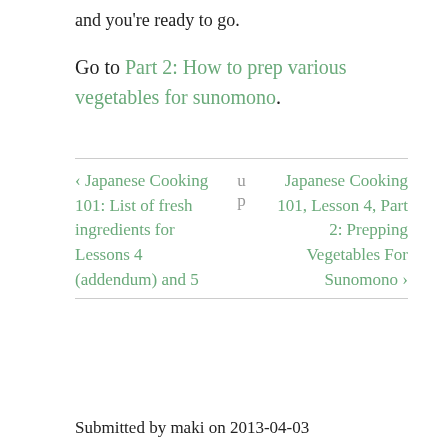and you're ready to go.
Go to Part 2: How to prep various vegetables for sunomono.
‹ Japanese Cooking 101: List of fresh ingredients for Lessons 4 (addendum) and 5 | up | Japanese Cooking 101, Lesson 4, Part 2: Prepping Vegetables For Sunomono ›
Submitted by maki on 2013-04-03